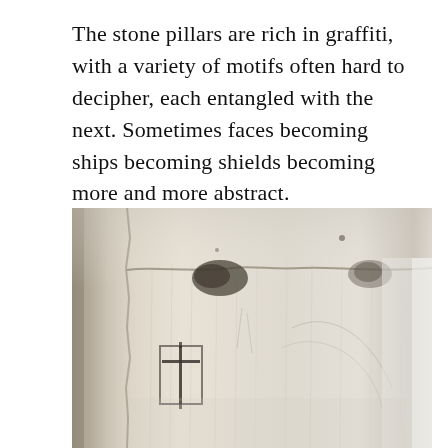The stone pillars are rich in graffiti, with a variety of motifs often hard to decipher, each entangled with the next. Sometimes faces becoming ships becoming shields becoming more and more abstract.
[Figure (photo): Close-up photograph of a stone pillar surface showing ancient graffiti with a cross/shield motif carved or scratched into weathered white/cream stone. The surface shows vertical striations and areas of darker staining or decay. A distinctive cross shape is visible in the lower-left portion of the pillar.]